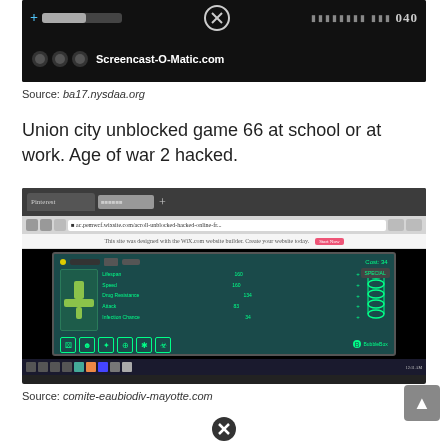[Figure (screenshot): Screenshot of Screencast-O-Matic.com recording interface with dark background, showing a progress bar, close button, and icons. Counter shows 040.]
Source: ba17.nysdaa.org
Union city unblocked game 66 at school or at work. Age of war 2 hacked.
[Figure (screenshot): Screenshot of a browser window showing a game page from BubbleBox with a character stats screen on dark teal background. Stats include Lifespan 160, Speed 160, Drug Resistance 134, Attack 83, Infection Chance 34 with SPECIAL button and DNA icons.]
Source: comite-eaubiodiv-mayotte.com